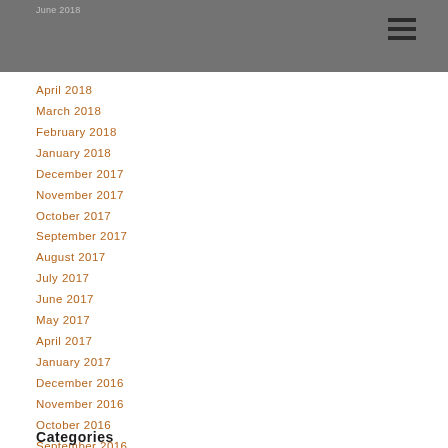June 2018
April 2018
March 2018
February 2018
January 2018
December 2017
November 2017
October 2017
September 2017
August 2017
July 2017
June 2017
May 2017
April 2017
January 2017
December 2016
November 2016
October 2016
September 2016
August 2016
July 2016
June 2016
May 2016
April 2016
February 2016
December 2015
Categories